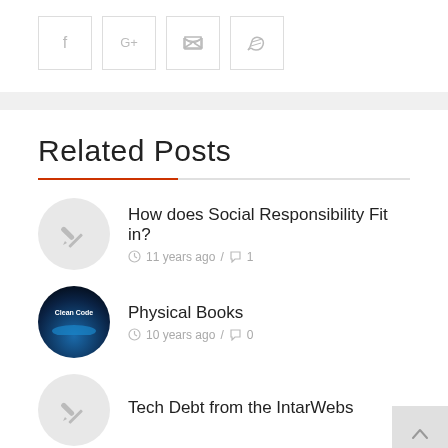[Figure (infographic): Social sharing icons: Facebook (f), Google+, Twitter, Email in square bordered boxes]
Related Posts
How does Social Responsibility Fit in? — 11 years ago / 1 comment
Physical Books — 10 years ago / 0 comments
Tech Debt from the IntarWebs